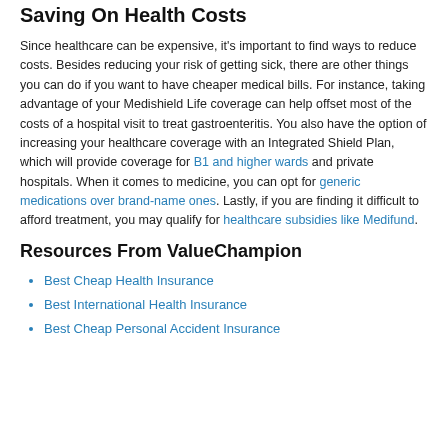Saving On Health Costs
Since healthcare can be expensive, it's important to find ways to reduce costs. Besides reducing your risk of getting sick, there are other things you can do if you want to have cheaper medical bills. For instance, taking advantage of your Medishield Life coverage can help offset most of the costs of a hospital visit to treat gastroenteritis. You also have the option of increasing your healthcare coverage with an Integrated Shield Plan, which will provide coverage for B1 and higher wards and private hospitals. When it comes to medicine, you can opt for generic medications over brand-name ones. Lastly, if you are finding it difficult to afford treatment, you may qualify for healthcare subsidies like Medifund.
Resources From ValueChampion
Best Cheap Health Insurance
Best International Health Insurance
Best Cheap Personal Accident Insurance